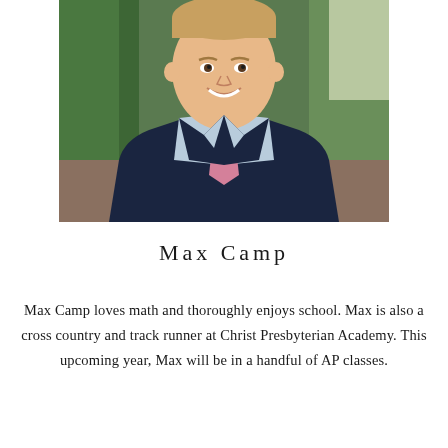[Figure (photo): Portrait photo of a young man wearing a navy blazer, light blue gingham dress shirt, and pink patterned tie, smiling, with green foliage in the background.]
Max Camp
Max Camp loves math and thoroughly enjoys school. Max is also a cross country and track runner at Christ Presbyterian Academy. This upcoming year, Max will be in a handful of AP classes.